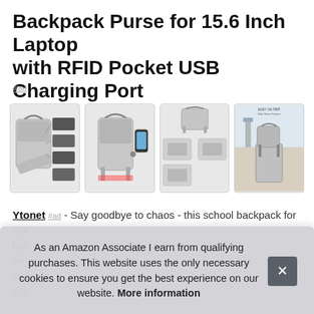Backpack Purse for 15.6 Inch Laptop with RFID Pocket USB Charging Port
#ad
[Figure (photo): Four product images of a grey laptop backpack purse shown from different angles: open compartment view with feature callouts, side view with USB charging port and phone, feature diagram with multiple detail shots, and rear trolley sleeve view at airport.]
Ytonet #ad - Say goodbye to chaos - this school backpack for wor bac for w stol wor
As an Amazon Associate I earn from qualifying purchases. This website uses the only necessary cookies to ensure you get the best experience on our website. More information